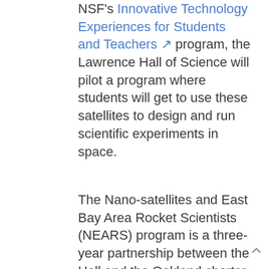NSF's Innovative Technology Experiences for Students and Teachers ↗ program, the Lawrence Hall of Science will pilot a program where students will get to use these satellites to design and run scientific experiments in space.
The Nano-satellites and East Bay Area Rocket Scientists (NEARS) program is a three-year partnership between the Hall and the Oakland charter school Civicorps ↗. Using the same sensors and arduino boards that are present on the nano-satellites, students will program the sensors to collect